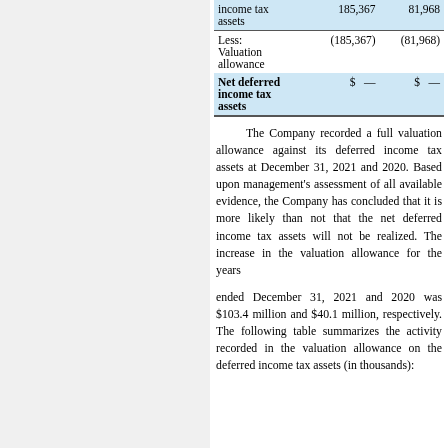|  | 2021 | 2020 |
| --- | --- | --- |
| income tax assets | 185,367 | 81,968 |
| Less: Valuation allowance | (185,367) | (81,968) |
| Net deferred income tax assets | $   — | $   — |
The Company recorded a full valuation allowance against its deferred income tax assets at December 31, 2021 and 2020. Based upon management's assessment of all available evidence, the Company has concluded that it is more likely than not that the net deferred income tax assets will not be realized. The increase in the valuation allowance for the years
ended December 31, 2021 and 2020 was $103.4 million and $40.1 million, respectively. The following table summarizes the activity recorded in the valuation allowance on the deferred income tax assets (in thousands):